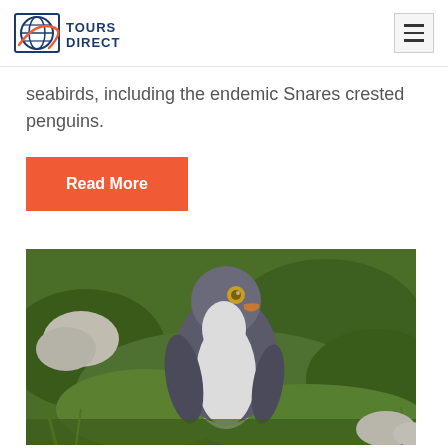Tours Direct
seabirds, including the endemic Snares crested penguins.
Read More
[Figure (photo): A yellow-eyed penguin standing in green grass with rocks in the background]